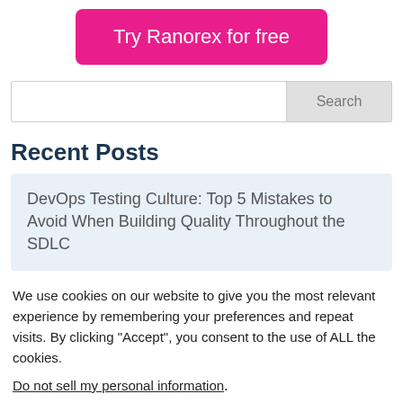[Figure (other): Pink/magenta call-to-action button labeled 'Try Ranorex for free']
[Figure (other): Search bar with 'Search' placeholder button on right]
Recent Posts
DevOps Testing Culture: Top 5 Mistakes to Avoid When Building Quality Throughout the SDLC
We use cookies on our website to give you the most relevant experience by remembering your preferences and repeat visits. By clicking “Accept”, you consent to the use of ALL the cookies.
Do not sell my personal information.
Cookie Settings   Accept